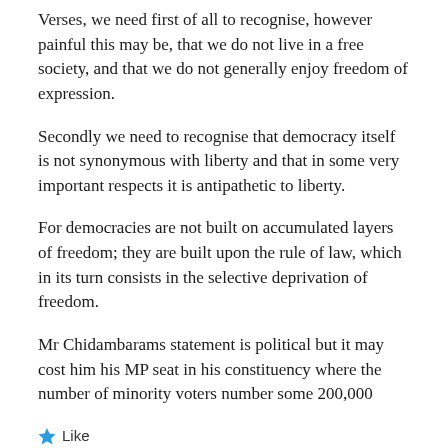Verses, we need first of all to recognise, however painful this may be, that we do not live in a free society, and that we do not generally enjoy freedom of expression.
Secondly we need to recognise that democracy itself is not synonymous with liberty and that in some very important respects it is antipathetic to liberty.
For democracies are not built on accumulated layers of freedom; they are built upon the rule of law, which in its turn consists in the selective deprivation of freedom.
Mr Chidambarams statement is political but it may cost him his MP seat in his constituency where the number of minority voters number some 200,000
Like
REPLY